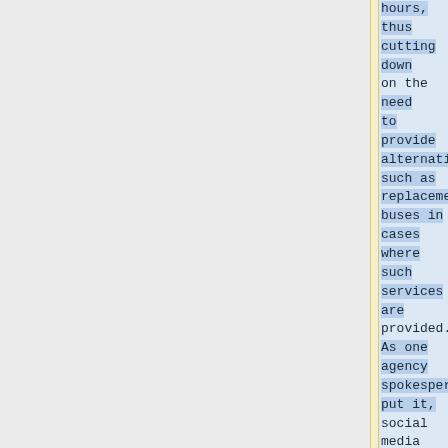hours, thus cutting down on the need to provide alternatives such as replacement buses in cases where such services are provided. As one agency spokesperson put it, social media allowed it to "'evaporate' its market" when an